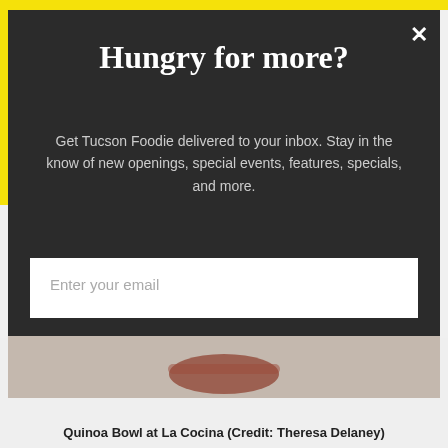Hungry for more?
Get Tucson Foodie delivered to your inbox. Stay in the know of new openings, special events, features, specials, and more.
Enter your email
Enter first name
I want the newsletter!
Quinoa Bowl at La Cocina (Credit: Theresa Delaney)